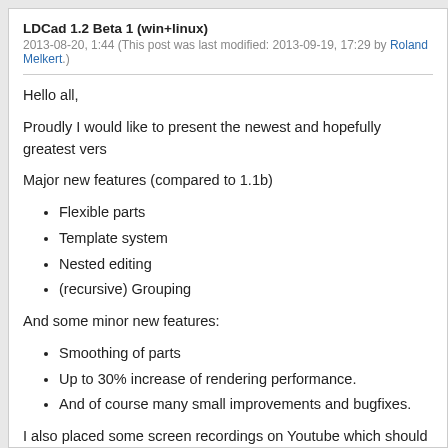LDCad 1.2 Beta 1 (win+linux)
2013-08-20, 1:44 (This post was last modified: 2013-09-19, 17:29 by Roland Melkert.)
Hello all,
Proudly I would like to present the newest and hopefully greatest vers
Major new features (compared to 1.1b)
Flexible parts
Template system
Nested editing
(recursive) Grouping
And some minor new features:
Smoothing of parts
Up to 30% increase of rendering performance.
And of course many small improvements and bugfixes.
I also placed some screen recordings on Youtube which should help p